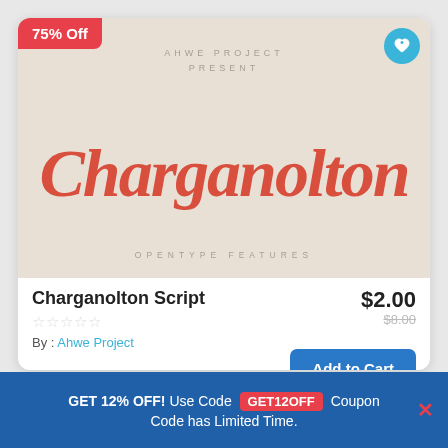[Figure (illustration): Font preview card showing 'Charganolton' in a red script font on a beige background, with '75% Off' badge, heart/wishlist button, 'AHWE PROJECT PRESENT' header text, and 'OPENTYPE FEATURES' footer text]
Charganolton Script
$2.00
$8.00
★★★★★
By : Ahwe Project
Add to Cart
GET 12% OFF! Use Code GET12OFF Coupon Code has Limited Time.